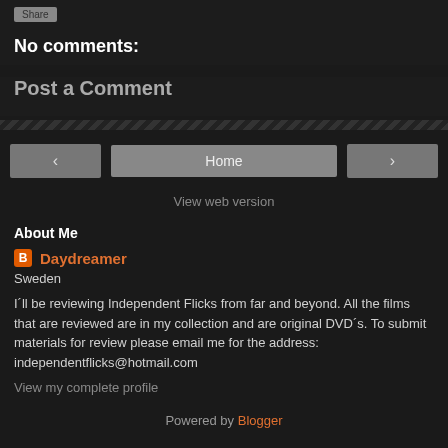[Figure (screenshot): Share button (grey pill button)]
No comments:
Post a Comment
[Figure (infographic): Navigation bar with left arrow, Home button, right arrow]
View web version
About Me
Daydreamer
Sweden
I´ll be reviewing Independent Flicks from far and beyond. All the films that are reviewed are in my collection and are original DVD´s. To submit materials for review please email me for the address: independentflicks@hotmail.com
View my complete profile
Powered by Blogger